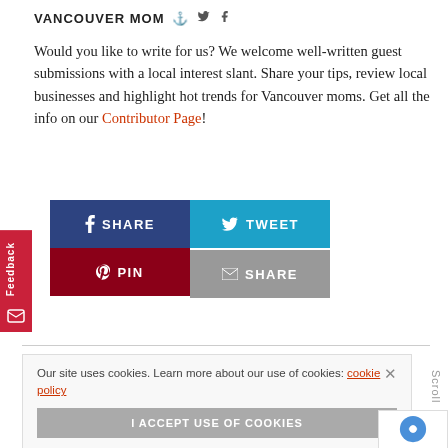VANCOUVER MOM
Would you like to write for us? We welcome well-written guest submissions with a local interest slant. Share your tips, review local businesses and highlight hot trends for Vancouver moms. Get all the info on our Contributor Page!
[Figure (infographic): Social share buttons: SHARE (Facebook, blue), TWEET (Twitter, cyan), PIN (Pinterest, dark red), SHARE (email, gray). Feedback tab on left side.]
Our site uses cookies. Learn more about our use of cookies: cookie policy
I ACCEPT USE OF COOKIES